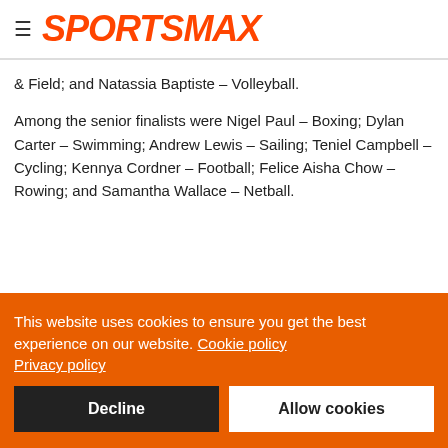SPORTSMAX
& Field; and Natassia Baptiste – Volleyball.
Among the senior finalists were Nigel Paul – Boxing; Dylan Carter – Swimming; Andrew Lewis – Sailing; Teniel Campbell – Cycling; Kennya Cordner – Football; Felice Aisha Chow – Rowing; and Samantha Wallace – Netball.
This website uses cookies to ensure you get the best experience on our website. Cookie policy Privacy policy
Decline
Allow cookies